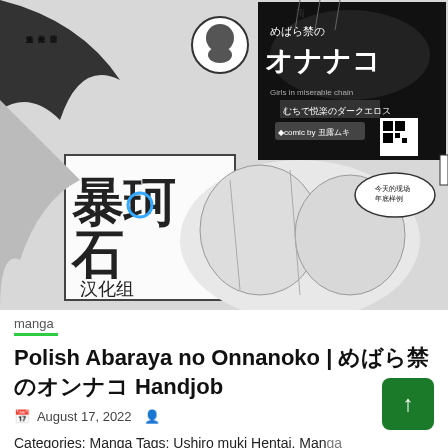[Figure (illustration): Manga cover page illustration in black and white with Chinese text overlay and a Chinese translation group logo (暴珂石汉化组). Shows manga-style characters and Japanese text including title めばら禁のオンナコ and author 丑露ムキ. Speech bubbles with Chinese text visible.]
manga
Polish Abaraya no Onnanoko | めばら禁のオンナコ Handjob
August 17, 2022
Categories: Manga Tags: Ushiro muki Hentai, Manga Hentai, Group Hentai, Lolicon Hentai, Sole female Hentai, Stocking Hentai, Anal Hentai, Nakadashi Hentai,